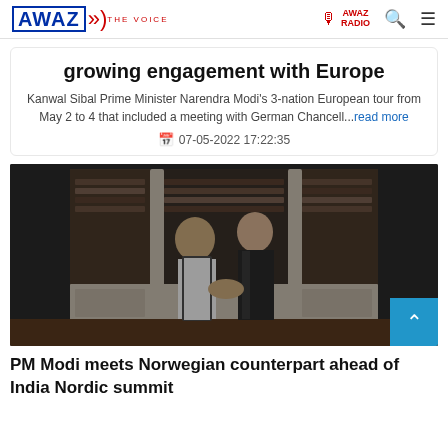AWAZ THE VOICE | AWAZ RADIO
growing engagement with Europe
Kanwal Sibal Prime Minister Narendra Modi's 3-nation European tour from May 2 to 4 that included a meeting with German Chancell...read more
07-05-2022 17:22:35
[Figure (photo): Two men shaking hands in front of ornate white bookshelves filled with books. One man wears a dark sleeveless vest over white kurta, the other wears a dark suit.]
PM Modi meets Norwegian counterpart ahead of India Nordic summit